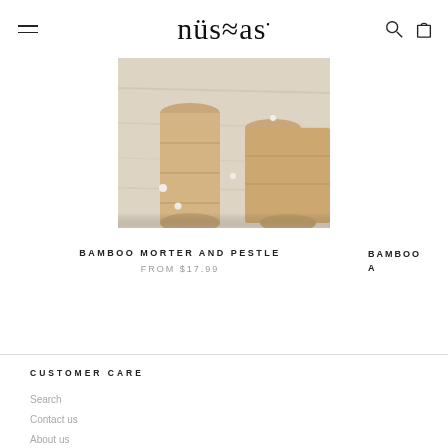nüs≈as — navigation header with menu, logo, search and cart icons
[Figure (photo): Bamboo mortar and pestle product photo showing two wooden bamboo cylinders on a light wooden surface with small white peppercorns scattered around]
BAMBOO MORTER AND PESTLE
FROM $17.99
BAMBOO A
CUSTOMER CARE
Search
Contact us
About us